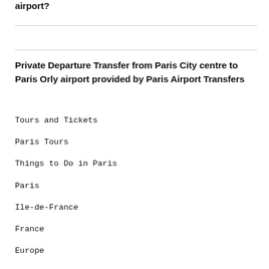airport?
Private Departure Transfer from Paris City centre to Paris Orly airport provided by Paris Airport Transfers
Tours and Tickets
Paris Tours
Things to Do in Paris
Paris
Ile-de-France
France
Europe